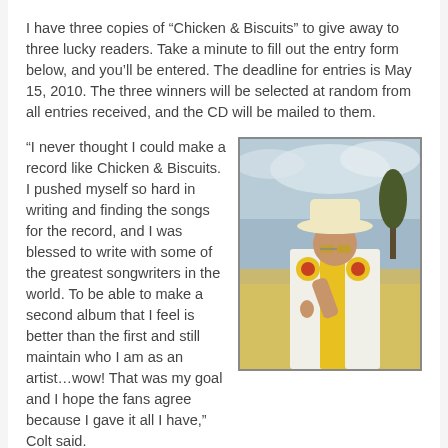I have three copies of “Chicken & Biscuits” to give away to three lucky readers. Take a minute to fill out the entry form below, and you’ll be entered. The deadline for entries is May 15, 2010. The three winners will be selected at random from all entries received, and the CD will be mailed to them.
“I never thought I could make a record like Chicken & Biscuits. I pushed myself so hard in writing and finding the songs for the record, and I was blessed to write with some of the greatest songwriters in the world. To be able to make a second album that I feel is better than the first and still maintain who I am as an artist…wow! That was my goal and I hope the fans agree because I gave it all I have,” Colt said.
[Figure (photo): Photo of a man wearing a white cowboy hat and a yellow embroidered western shirt, posing outdoors.]
His debut album Ride Through the Country has sold an impressive 150,000+ albums and over 450,000 paid song downloads to date.